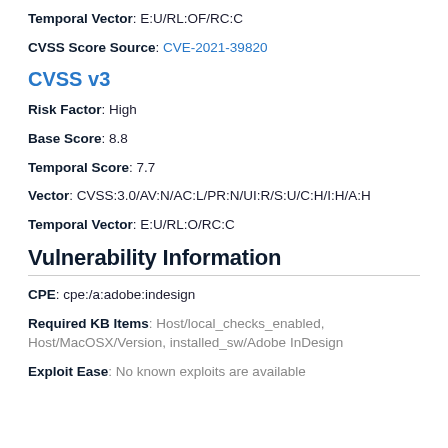Temporal Vector: E:U/RL:OF/RC:C
CVSS Score Source: CVE-2021-39820
CVSS v3
Risk Factor: High
Base Score: 8.8
Temporal Score: 7.7
Vector: CVSS:3.0/AV:N/AC:L/PR:N/UI:R/S:U/C:H/I:H/A:H
Temporal Vector: E:U/RL:O/RC:C
Vulnerability Information
CPE: cpe:/a:adobe:indesign
Required KB Items: Host/local_checks_enabled, Host/MacOSX/Version, installed_sw/Adobe InDesign
Exploit Ease: No known exploits are available